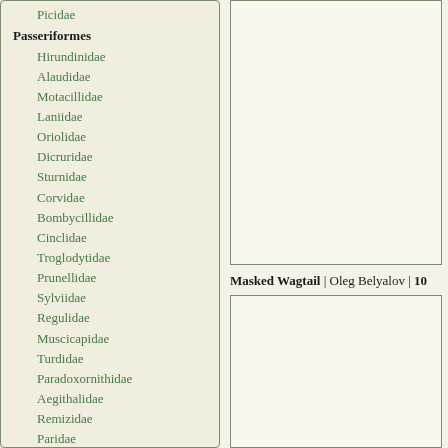Picidae
Passeriformes
Hirundinidae
Alaudidae
Motacillidae
Laniidae
Oriolidae
Dicruridae
Sturnidae
Corvidae
Bombycillidae
Cinclidae
Troglodytidae
Prunellidae
Sylviidae
Regulidae
Muscicapidae
Turdidae
Paradoxornithidae
Aegithalidae
Remizidae
Paridae
Sittidae
Certhiidae
Ploceidae
Fringillidae
Emberizidae
[Figure (photo): Photo placeholder - top right image of a bird]
Masked Wagtail | Oleg Belyalov | 10
[Figure (photo): Photo placeholder - bottom right image of a bird]